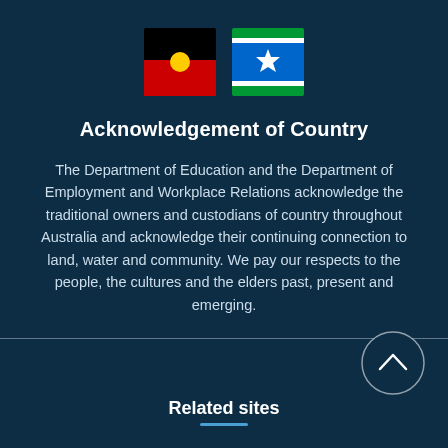[Figure (illustration): Australian Aboriginal flag and Torres Strait Islander flag side by side]
Acknowledgement of Country
The Department of Education and the Department of Employment and Workplace Relations acknowledge the traditional owners and custodians of country throughout Australia and acknowledge their continuing connection to land, water and community. We pay our respects to the people, the cultures and the elders past, present and emerging.
Related sites